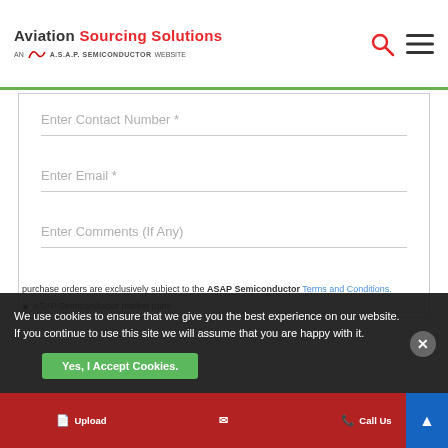Aviation Sourcing Solutions — AN A.S.A.P. SEMICONDUCTOR WEBSITE
Enter Contact Number *
Enter Email *
Enter Comments (If Any)
We use cookies to ensure that we give you the best experience on our website. If you continue to use this site we will assume that you are happy with it.
purchase orders are exclusively subject to the ASAP Semiconductor Terms and Conditions.
ASAP Semiconductor market parts
Upload | Call Us